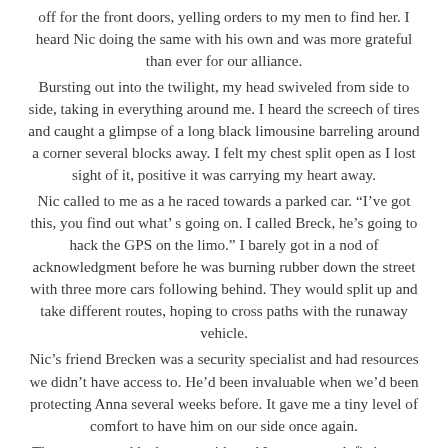off for the front doors, yelling orders to my men to find her. I heard Nic doing the same with his own and was more grateful than ever for our alliance. Bursting out into the twilight, my head swiveled from side to side, taking in everything around me. I heard the screech of tires and caught a glimpse of a long black limousine barreling around a corner several blocks away. I felt my chest split open as I lost sight of it, positive it was carrying my heart away. Nic called to me as a he raced towards a parked car. “I’ve got this, you find out what’ s going on. I called Breck, he’s going to hack the GPS on the limo.” I barely got in a nod of acknowledgment before he was burning rubber down the street with three more cars following behind. They would split up and take different routes, hoping to cross paths with the runaway vehicle. Nic’s friend Brecken was a security specialist and had resources we didn’t have access to. He’d been invaluable when we’d been protecting Anna several weeks before. It gave me a tiny level of comfort to have him on our side once again. Thomas was suddenly at my side and I spun around, fisting my hands in his dress shirt, pulling his face up to mine, which lifted him a couple of inches off of his feet.